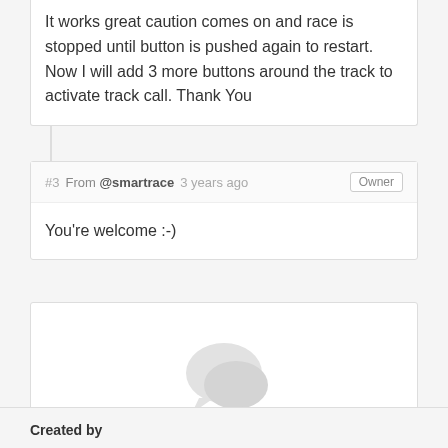It works great caution comes on and race is stopped until button is pushed again to restart. Now I will add 3 more buttons around the track to activate track call. Thank You
#3 From @smartrace 3 years ago
You're welcome :-)
[Figure (illustration): Two speech bubble icons indicating comments/chat]
You need to be logged in to add a comment.
Created by